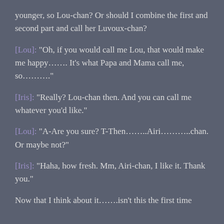younger, so Lou-chan? Or should I combine the first and second part and call her Luvoux-chan?
[Lou]: “Oh, if you would call me Lou, that would make me happy……. It’s what Papa and Mama call me, so……..”
[Iris]: “Really? Lou-chan then. And you can call me whatever you’d like.”
[Lou]: “A-Are you sure? T-Then…….Airi……….chan. Or maybe not?”
[Iris]: “Haha, how fresh. Mm, Airi-chan, I like it. Thank you.”
Now that I think about it…….isn’t this the first time